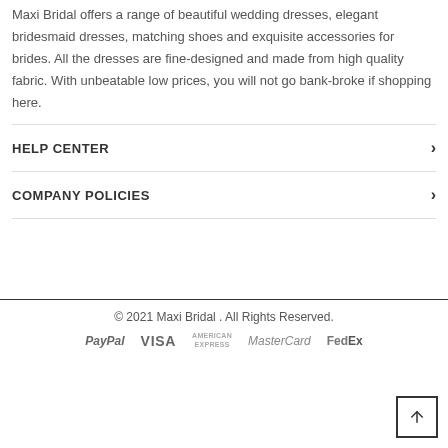Maxi Bridal offers a range of beautiful wedding dresses, elegant bridesmaid dresses, matching shoes and exquisite accessories for brides. All the dresses are fine-designed and made from high quality fabric. With unbeatable low prices, you will not go bank-broke if shopping here.
HELP CENTER
COMPANY POLICIES
© 2021 Maxi Bridal . All Rights Reserved.
PayPal  VISA  AMERICAN EXPRESS  MasterCard  FedEx